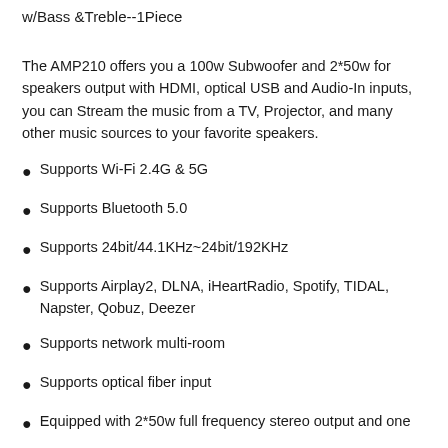w/Bass &Treble--1Piece
The AMP210 offers you a 100w Subwoofer and 2*50w for speakers output with HDMI, optical USB and Audio-In inputs, you can Stream the music from a TV, Projector, and many other music sources to your favorite speakers.
Supports Wi-Fi 2.4G & 5G
Supports Bluetooth 5.0
Supports 24bit/44.1KHz~24bit/192KHz
Supports Airplay2, DLNA, iHeartRadio, Spotify, TIDAL, Napster, Qobuz, Deezer
Supports network multi-room
Supports optical fiber input
Equipped with 2*50w full frequency stereo output and one